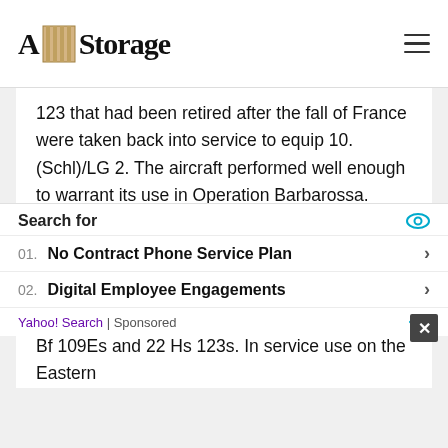A Storage
123 that had been retired after the fall of France were taken back into service to equip 10.(Schl)/LG 2. The aircraft performed well enough to warrant its use in Operation Barbarossa.
World War II (Eastern Front)
At the start of Operation Barbarossa, the single Gruppe of the Luftwaffe that was dedicated to ground support was II.(Schl)/LG 2, operating 38 Bf 109Es and 22 Hs 123s. In service use on the Eastern
Search for
01. No Contract Phone Service Plan
02. Digital Employee Engagements
Yahoo! Search | Sponsored